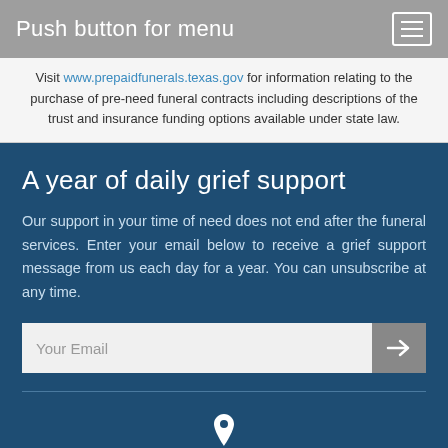Push button for menu
Visit www.prepaidfunerals.texas.gov for information relating to the purchase of pre-need funeral contracts including descriptions of the trust and insurance funding options available under state law.
A year of daily grief support
Our support in your time of need does not end after the funeral services. Enter your email below to receive a grief support message from us each day for a year. You can unsubscribe at any time.
Your Email
14630 White Heather Dr. Houston, TX 77045